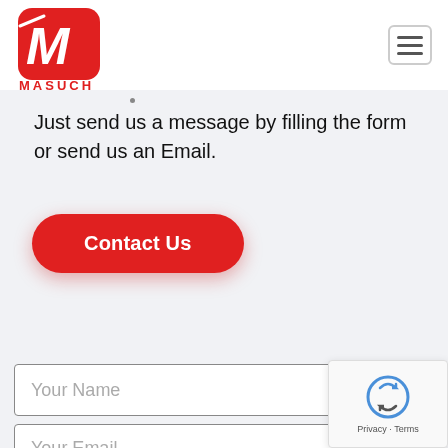[Figure (logo): Masuch logo - red rounded square with white M wrench icon and MASUCH text below]
[Figure (other): Hamburger menu button with three horizontal lines in a rounded rectangle]
Just send us a message by filling the form or send us an Email.
[Figure (other): Red rounded Contact Us button]
[Figure (other): Your Name form input field]
[Figure (other): Your Email form input field]
[Figure (other): reCAPTCHA widget overlay in bottom right corner]